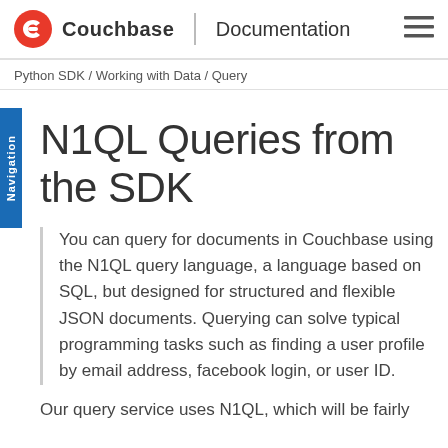Couchbase | Documentation
Python SDK / Working with Data / Query
N1QL Queries from the SDK
You can query for documents in Couchbase using the N1QL query language, a language based on SQL, but designed for structured and flexible JSON documents. Querying can solve typical programming tasks such as finding a user profile by email address, facebook login, or user ID.
Our query service uses N1QL, which will be fairly